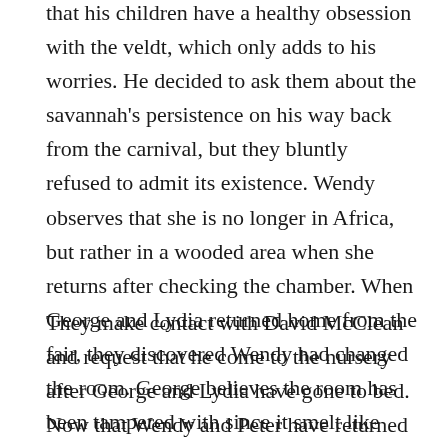that his children have a healthy obsession with the veldt, which only adds to his worries. He decided to ask them about the savannah's persistence on his way back from the carnival, but they bluntly refused to admit its existence. Wendy observes that she is no longer in Africa, but rather in a wooded area when she returns after checking the chamber. When George and Lydia returned home from the fair, they discovered Wendy had changed the room. George believes the room has been tampered with since it smelt like scorched grass and had teeth marks on it.
They make contact with David McClean and request that he come to the nursery after George and Lydia have gone to bed. Now that Wendy and Peter have returned to the nursery, we can hear crying from